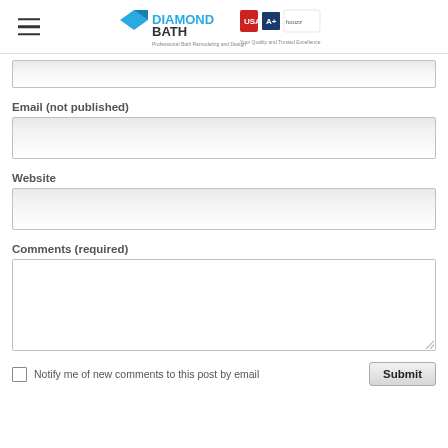DiamondBath — Professional Bath Remodeling and Design
[Figure (screenshot): Partial text input box (top of a name or similar field), shown cropped at top of form area]
Email (not published)
[Figure (screenshot): Email input field, empty text box with light gray gradient background]
Website
[Figure (screenshot): Website input field, empty text box with light gray gradient background]
Comments (required)
[Figure (screenshot): Comments textarea, large empty white box with resize handle at bottom right]
Notify me of new comments to this post by email
[Figure (screenshot): Submit button, gray gradient rounded rectangle button labeled Submit]